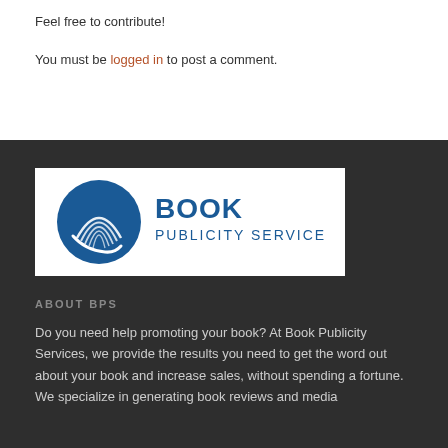Feel free to contribute!
You must be logged in to post a comment.
[Figure (logo): Book Publicity Services logo — blue circular icon with open book pages on left, text 'Book Publicity Services' in blue on right, on white background]
ABOUT BPS
Do you need help promoting your book? At Book Publicity Services, we provide the results you need to get the word out about your book and increase sales, without spending a fortune. We specialize in generating book reviews and media